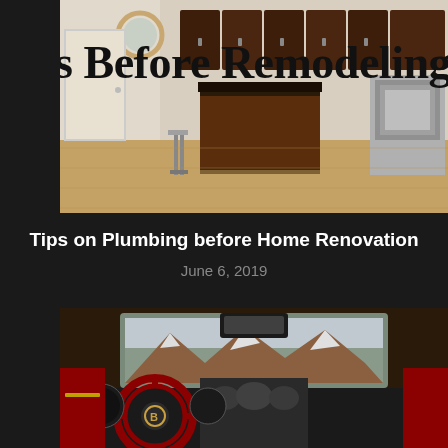[Figure (photo): Kitchen interior photo showing a dark wood island with granite countertop, stainless steel appliances, and hardwood floors. A title text overlay reads 'Tips Before Remodeling Your H' (partially cropped).]
Tips on Plumbing before Home Renovation
June 6, 2019
[Figure (photo): Interior of a luxury car (Bentley) showing a red leather steering wheel with Bentley logo, dashboard with gauges, center console, and a snowy mountain landscape visible through the windshield.]